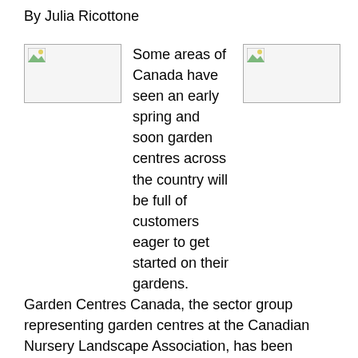By Julia Ricottone
[Figure (photo): Placeholder image 1 (broken image icon, landscape thumbnail)]
[Figure (photo): Placeholder image 2 (broken image icon, landscape thumbnail)]
Some areas of Canada have seen an early spring and soon garden centres across the country will be full of customers eager to get started on their gardens. Garden Centres Canada, the sector group representing garden centres at the Canadian Nursery Landscape Association, has been working hard to offer more programs and services to our members. Last year, we launched a national gift card program that allows customers to purchase and redeem gift cards at participating stores through their smart phones. New this year, we are giving our members an opportunity to use an online benchmarking program so they can track their sales and make comparisons against their own business, and also see aggregate information about other garden centres across the country. This information will help all of our members improve their business, and will also